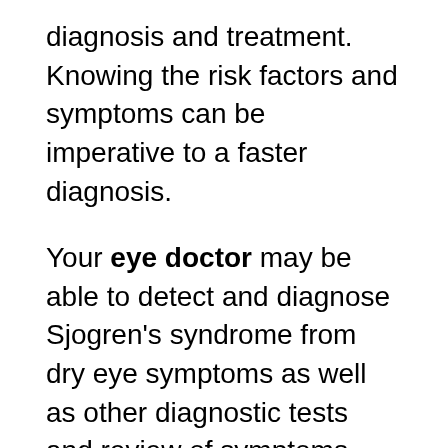diagnosis and treatment. Knowing the risk factors and symptoms can be imperative to a faster diagnosis.
Your eye doctor may be able to detect and diagnose Sjogren's syndrome from dry eye symptoms as well as other diagnostic tests and review of symptoms. With this diagnosis the treatment will be different from typical dry eye disease. Since it is an autoimmune disease, lubricating eye drops may provide temporary relief but will not address the source of the problem. Your doctor may prescribe newer cyclosporine drops as well to treat the inflammatory response. If you have dry eyes and typical treatments aren't working, it may be worthwhile to ask about Sjogren's.
Sjogren's patients often feel misunderstood because most of the debilitating symptoms are not visible to